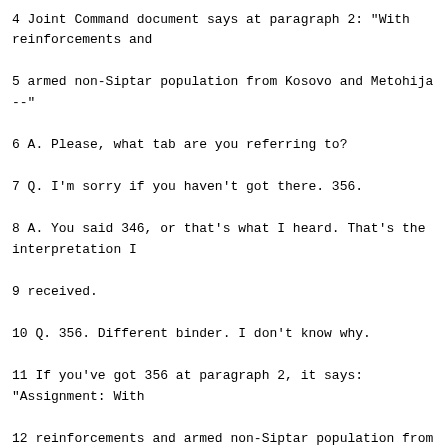4 Joint Command document says at paragraph 2: "With reinforcements and
5 armed non-Siptar population from Kosovo and Metohija --"
6 A. Please, what tab are you referring to?
7 Q. I'm sorry if you haven't got there. 356.
8 A. You said 346, or that's what I heard. That's the interpretation I
9 received.
10 Q. 356. Different binder. I don't know why.
11 If you've got 356 at paragraph 2, it says: "Assignment: With
12 reinforcements and armed non-Siptar population from Kosovo and Metohija,
13 the Pristina command is assisting the MUP crushing and destroying STS in
14 the zone of responsibility."
15 So what does "crushing and destroying" mean?
16 A. We should -- as this is a specific assignment, we